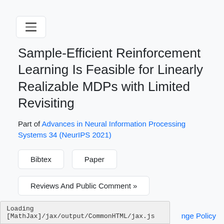[Figure (other): Hamburger/navigation toggle button icon — three horizontal lines in a rounded rectangle border]
Sample-Efficient Reinforcement Learning Is Feasible for Linearly Realizable MDPs with Limited Revisiting
Part of Advances in Neural Information Processing Systems 34 (NeurIPS 2021)
Bibtex
Paper
Reviews And Public Comment »
Supplemental
Loading [MathJax]/jax/output/CommonHTML/jax.js
nge Policy